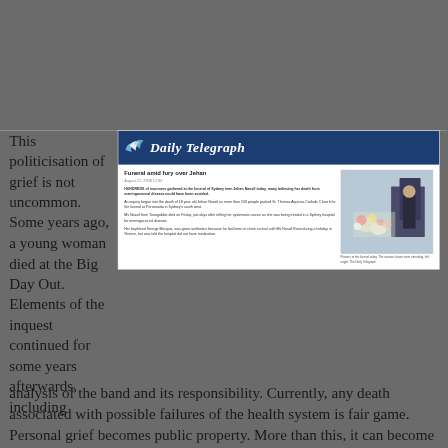[Figure (screenshot): Screenshot of a Daily Telegraph newspaper article titled 'Funeral amid fury over Jehan' with a photo of flowers at a funeral]
This politicisation of grief is not uncommon. Some years ago, a young woman died at the Big Day Out. Elements of the inquest continued for some years afterwards, including analysis of the band and its responsibility. Currently, any death associated with possible failures of the health system is fair game. Personal grief becomes public property. More than this, it can become political capital.
There is a public face to grief, and funerals are an important expression of this. The structured and ritualised expressions are the beginnings of mourning, that time of supported and acknowledged sadness that enables people to come to grips with